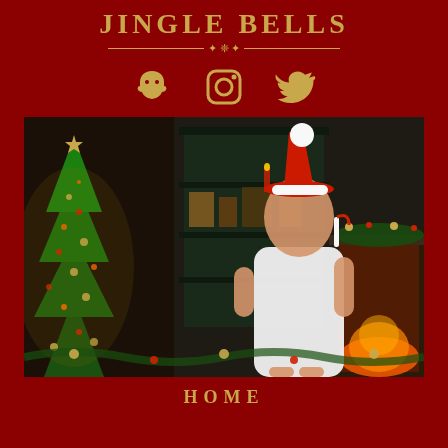JINGLE BELLS
[Figure (illustration): Social media icons row: Snapchat ghost, Instagram camera, Twitter bird — all in golden/tan color on dark red background]
[Figure (photo): Woman wearing a white short dress and red Santa hat, standing in front of a decorated Christmas tree and fireplace with festive shelves in the background]
HOME